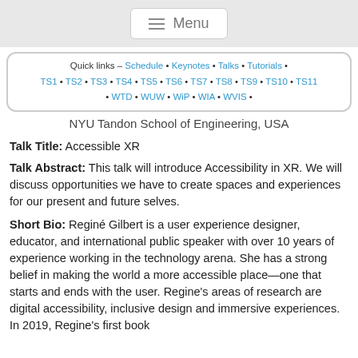Menu
Quick links – Schedule • Keynotes • Talks • Tutorials • TS1 • TS2 • TS3 • TS4 • TS5 • TS6 • TS7 • TS8 • TS9 • TS10 • TS11 • WTD • WUW • WiP • WIA • WVIS •
NYU Tandon School of Engineering, USA
Talk Title: Accessible XR
Talk Abstract: This talk will introduce Accessibility in XR. We will discuss opportunities we have to create spaces and experiences for our present and future selves.
Short Bio: Reginé Gilbert is a user experience designer, educator, and international public speaker with over 10 years of experience working in the technology arena. She has a strong belief in making the world a more accessible place—one that starts and ends with the user. Regine's areas of research are digital accessibility, inclusive design and immersive experiences. In 2019, Regine's first book